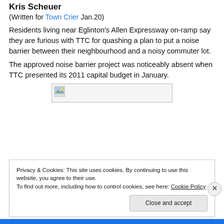Kris Scheuer
(Written for Town Crier Jan.20)
Residents living near Eglinton's Allen Expressway on-ramp say they are furious with TTC for quashing a plan to put a noise barrier between their neighbourhood and a noisy commuter lot.
The approved noise barrier project was noticeably absent when TTC presented its 2011 capital budget in January.
[Figure (photo): Broken/missing image placeholder with small image icon on left side]
Privacy & Cookies: This site uses cookies. By continuing to use this website, you agree to their use.
To find out more, including how to control cookies, see here: Cookie Policy